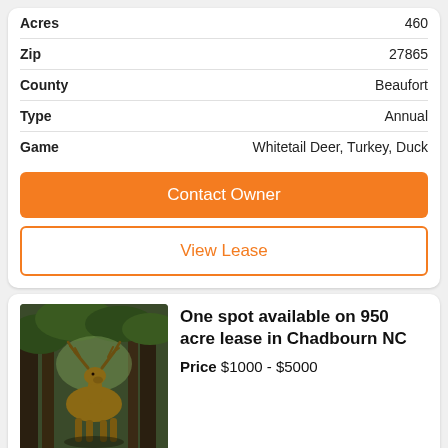| Field | Value |
| --- | --- |
| Acres | 460 |
| Zip | 27865 |
| County | Beaufort |
| Type | Annual |
| Game | Whitetail Deer, Turkey, Duck |
Contact Owner
View Lease
[Figure (photo): A whitetail deer buck standing in a forested area with trees in background]
One spot available on 950 acre lease in Chadbourn NC
Price $1000 - $5000
One spot available on 950 acre lease in Chadbourn NC. Total of 5